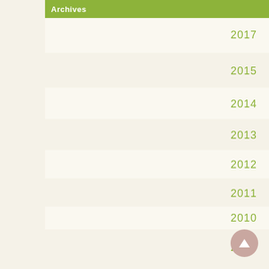Archives
2017
2015
2014
2013
2012
2011
2010
2009
2008
2007
2006
2005